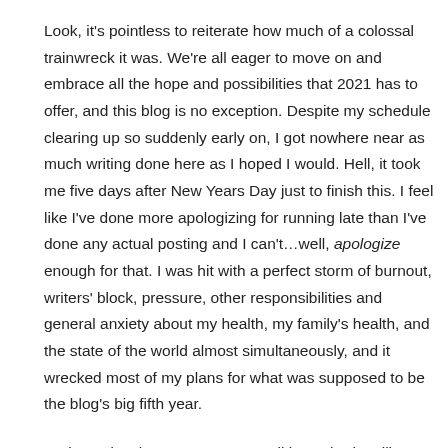Look, it's pointless to reiterate how much of a colossal trainwreck it was. We're all eager to move on and embrace all the hope and possibilities that 2021 has to offer, and this blog is no exception. Despite my schedule clearing up so suddenly early on, I got nowhere near as much writing done here as I hoped I would. Hell, it took me five days after New Years Day just to finish this. I feel like I've done more apologizing for running late than I've done any actual posting and I can't…well, apologize enough for that. I was hit with a perfect storm of burnout, writers' block, pressure, other responsibilities and general anxiety about my health, my family's health, and the state of the world almost simultaneously, and it wrecked most of my plans for what was supposed to be the blog's big fifth year.
And yet, despite every nervous cell in my brain telling me I wasn't going to make it, here I am.